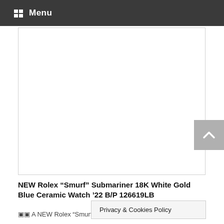Menu
[Figure (photo): White blank image placeholder area with border]
NEW Rolex “Smurf” Submariner 18K White Gold Blue Ceramic Watch '22 B/P 126619LB
▣▣ A NEW Rolex “Smurf” ... ld Blue
Privacy & Cookies Policy